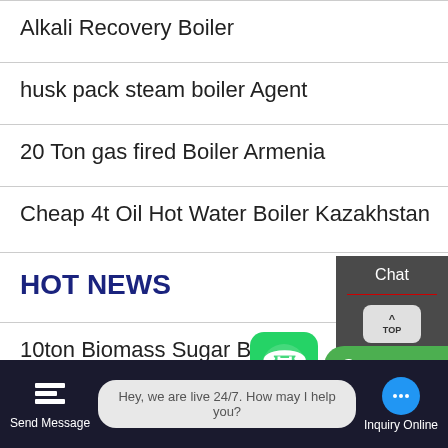Alkali Recovery Boiler
husk pack steam boiler Agent
20 Ton gas fired Boiler Armenia
Cheap 4t Oil Hot Water Boiler Kazakhstan
HOT NEWS
10ton Biomass Sugar Boiler
4t Diesel Fired Boiler Brand China
Chat
TOP
Email
Contact us now!
Hey, we are live 24/7. How may I help you?
Send Message
Inquiry Online